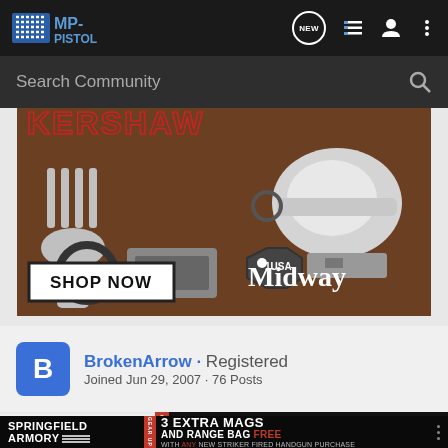[Figure (screenshot): MP-Pistol community forum website screenshot showing navigation bar with logo, search bar, a MidwayUSA advertisement for a multi-tool spork, user profile for BrokenArrow, and a Springfield Armory advertisement banner]
BrokenArrow · Registered
Joined Jun 29, 2007 · 76 Posts
#17 · Jul
SPRINGFIELD ARMORY 3 EXTRA MAGS AND RANGE BAG FREE WITH ANY NEW STRIKER FIRED HANDGUN PURCHASE